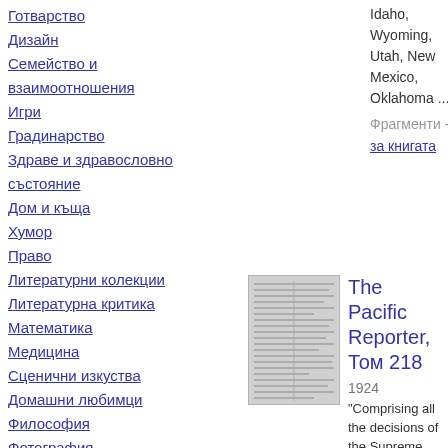Готварство
Дизайн
Семейство и взаимоотношения
Игри
Градинарство
Здраве и здравословно състояние
Дом и къща
Хумор
Право
Литературни колекции
Литературна критика
Математика
Медицина
Сценични изкуства
Домашни любимци
Философия
Фотография
Поезия
Политически науки
Психология
Религия
Idaho, Wyoming, Utah, New Mexico, Oklahoma ...
Фрагменти - Информация за книгата
[Figure (photo): Book cover thumbnail for The Pacific Reporter, Tom 218]
The Pacific Reporter, Том 218
1924
"Comprising all the decisions of the Supreme Courts of California, Kansas, Oregon, Washington, Colorado, Montana, Arizona, Nevada, Idaho, Wyoming,